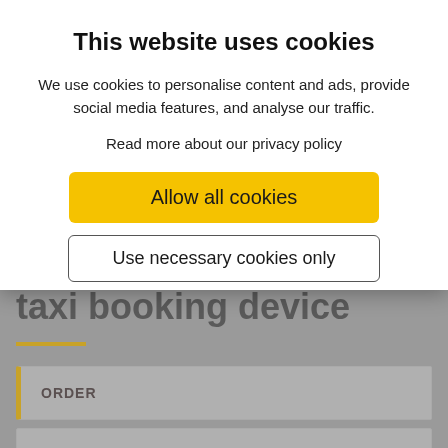This website uses cookies
We use cookies to personalise content and ads, provide social media features, and analyse our traffic.
Read more about our privacy policy
Allow all cookies
Use necessary cookies only
taxi booking device
ORDER
TAXI COMING